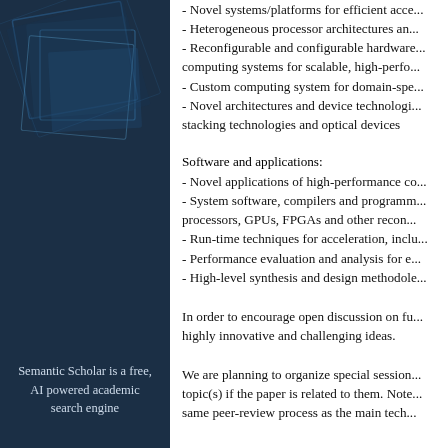[Figure (illustration): Semantic Scholar logo/branding image — dark blue background with geometric overlapping transparent rectangles and text reading 'Semantic Scholar is a free, AI powered academic search engine']
- Novel systems/platforms for efficient acce...
- Heterogeneous processor architectures an...
- Reconfigurable and configurable hardware... computing systems for scalable, high-perfo...
- Custom computing system for domain-spe...
- Novel architectures and device technologi... stacking technologies and optical devices
Software and applications:
- Novel applications of high-performance co...
- System software, compilers and programm... processors, GPUs, FPGAs and other recon...
- Run-time techniques for acceleration, inclu...
- Performance evaluation and analysis for e...
- High-level synthesis and design methodole...
In order to encourage open discussion on fu... highly innovative and challenging ideas.
We are planning to organize special session... topic(s) if the paper is related to them. Note... same peer-review process as the main tech...
As in previous HEART editions, we plan to p... Computer Architecture News (CAN), which...
Prospective authors are invited to submit on... or 4-page papers to be considered as poste... letter size, single-spacing, 10 points for mai... way, so author names, affiliations, e-mail ad... rejected without review. You can submit u...